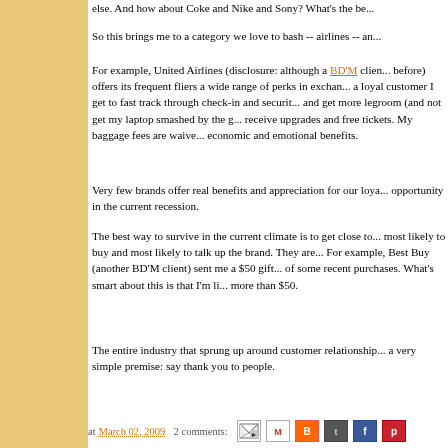else. And how about Coke and Nike and Sony? What's the be...
So this brings me to a category we love to bash -- airlines -- and...
For example, United Airlines (disclosure: although a BD'M client before) offers its frequent fliers a wide range of perks in exchange... a loyal customer I get to fast track through check-in and security... and get more legroom (and not get my laptop smashed by the g... receive upgrades and free tickets. My baggage fees are waived... economic and emotional benefits.
Very few brands offer real benefits and appreciation for our loya... opportunity in the current recession.
The best way to survive in the current climate is to get close to... most likely to buy and most likely to talk up the brand. They are... For example, Best Buy (another BD'M client) sent me a $50 gift... of some recent purchases. What's smart about this is that I'm li... more than $50.
The entire industry that sprung up around customer relationship... a very simple premise: say thank you to people.
at March 02, 2009   2 comments: